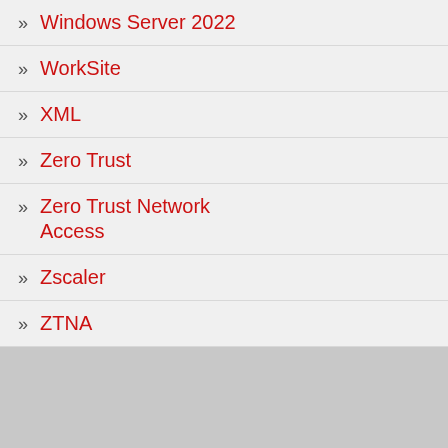» Windows Server 2022
» WorkSite
» XML
» Zero Trust
» Zero Trust Network Access
» Zscaler
» ZTNA
Richard M.
Not sure wh release of th Windows 10 located in C:\Program correct?
Loading...
Dimitri Go
Hi Richard! I verified, an checking the When I chec remains on Changing th